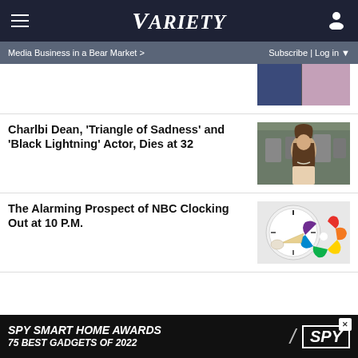VARIETY
Media Business in a Bear Market > Subscribe | Log in
Charlbi Dean, 'Triangle of Sadness' and 'Black Lightning' Actor, Dies at 32
[Figure (photo): Photo of Charlbi Dean at a red carpet event with photographers in background]
The Alarming Prospect of NBC Clocking Out at 10 P.M.
[Figure (photo): Hand pointing at a clock with NBC peacock logo]
[Figure (advertisement): SPY Smart Home Awards - 75 Best Gadgets of 2022 advertisement]